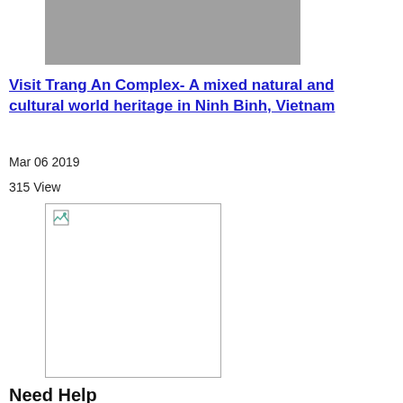[Figure (photo): Gray rectangular image placeholder at the top of the page]
Visit Trang An Complex- A mixed natural and cultural world heritage in Ninh Binh, Vietnam
Mar 06 2019
315 View
[Figure (photo): Image placeholder with broken image icon, outlined with a border]
Need Help